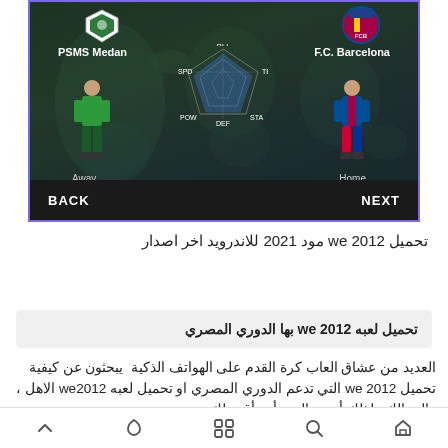[Figure (screenshot): Video game screenshot showing PSMS Medan (Away) vs F.C. Barcelona (Home) team selection screen with player figures, radar chart in center, BACK and NEXT buttons at bottom, on a world map background.]
تحميل we 2012 مود 2021 للاندرويد اخر اصدار
تحميل لعبه we 2012 بها الدوري المصري
العديد من عشاق العاب كرة القدم على الهواتف الذكية  يبحثون عن كيفية تحميل we 2012 التي تدعم الدوري المصري او تحميل لعبه we2012 الاهل ، والزمالك . لذلك أتنبت اليوم أن، أقده لك